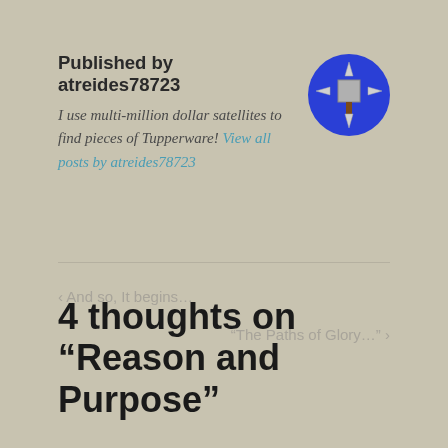Published by atreides78723
I use multi-million dollar satellites to find pieces of Tupperware! View all posts by atreides78723
[Figure (illustration): Circular blue avatar icon with a compass/mace symbol in white and gray on a blue background]
< And so, It begins…
"The Paths of Glory…" >
4 thoughts on “Reason and Purpose”